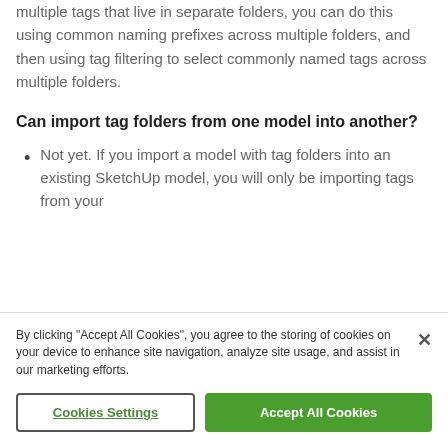multiple tags that live in separate folders, you can do this using common naming prefixes across multiple folders, and then using tag filtering to select commonly named tags across multiple folders.
Can import tag folders from one model into another?
Not yet. If you import a model with tag folders into an existing SketchUp model, you will only be importing tags from your
By clicking "Accept All Cookies", you agree to the storing of cookies on your device to enhance site navigation, analyze site usage, and assist in our marketing efforts.
Cookies Settings
Accept All Cookies